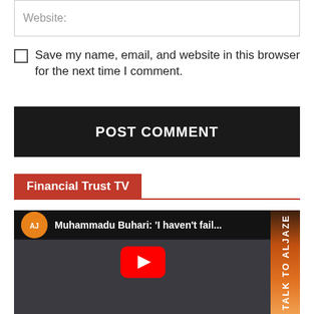Website:
Save my name, email, and website in this browser for the next time I comment.
POST COMMENT
Financial Trust TV
[Figure (screenshot): YouTube video thumbnail showing Muhammadu Buhari from an Al Jazeera 'Talk to Al Jazeera' segment, with title text 'Muhammadu Buhari: I haven't fail...' and a red YouTube play button in the center.]